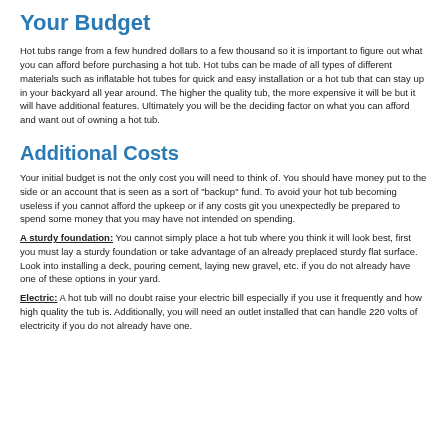Your Budget
Hot tubs range from a few hundred dollars to a few thousand so it is important to figure out what you can afford before purchasing a hot tub. Hot tubs can be made of all types of different materials such as inflatable hot tubes for quick and easy installation or a hot tub that can stay up in your backyard all year around. The higher the quality tub, the more expensive it will be but it will have additional features. Ultimately you will be the deciding factor on what you can afford and want out of owning a hot tub.
Additional Costs
Your initial budget is not the only cost you will need to think of. You should have money put to the side or an account that is seen as a sort of "backup" fund. To avoid your hot tub becoming useless if you cannot afford the upkeep or if any costs git you unexpectedly be prepared to spend some money that you may have not intended on spending.
A sturdy foundation: You cannot simply place a hot tub where you think it will look best, first you must lay a sturdy foundation or take advantage of an already preplaced sturdy flat surface. Look into installing a deck, pouring cement, laying new gravel, etc. if you do not already have one of these options in your yard.
Electric: A hot tub will no doubt raise your electric bill especially if you use it frequently and how high quality the tub is. Additionally, you will need an outlet installed that can handle 220 volts of electricity if you do not already have one.